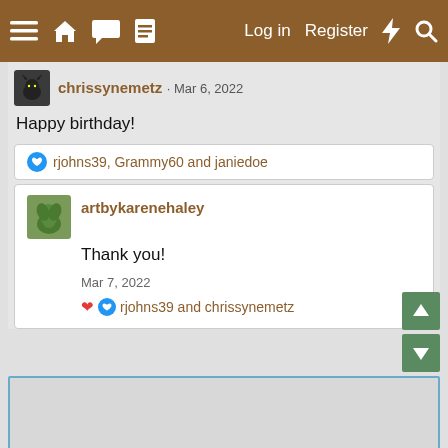Navigation bar with menu, home, chat, document icons on left; Log in, Register, lightning, search on right
chrissynemetz · Mar 6, 2022
Happy birthday!
rjohns39, Grammy60 and janiedoe
artbykarenehaley
Thank you!
Mar 7, 2022
rjohns39 and chrissynemetz